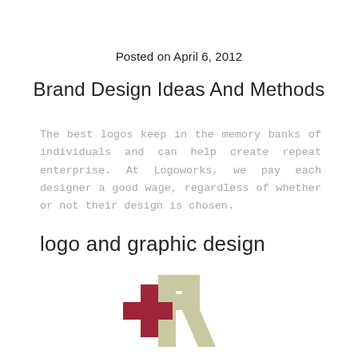Posted on April 6, 2012
Brand Design Ideas And Methods
The best logos keep in the memory banks of individuals and can help create repeat enterprise. At Logoworks, we pay each designer a good wage, regardless of whether or not their design is chosen.
logo and graphic design
[Figure (logo): A logo combining a red cross/plus symbol overlapping with a light olive/sage colored letter R shape]